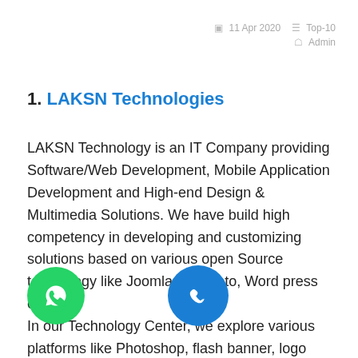11 Apr 2020   Top-10   Admin
1. LAKSN Technologies
LAKSN Technology is an IT Company providing Software/Web Development, Mobile Application Development and High-end Design & Multimedia Solutions. We have build high competency in developing and customizing solutions based on various open Source technology like Joomla, Magneto, Word press etc .
In our Technology Center, we explore various platforms like Photoshop, flash banner, logo design, MySql, PHP, .N... va, Ajax, j-query, C...mobile application with the h...our well experienced resources who can assist you to fix up the issues.